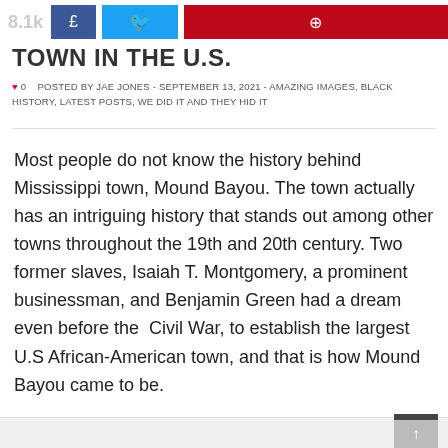8.1k  £  [twitter icon]  [pinterest icon]
TOWN IN THE U.S.
♥ 0   POSTED BY JAE JONES - SEPTEMBER 13, 2021 - AMAZING IMAGES, BLACK HISTORY, LATEST POSTS, WE DID IT AND THEY HID IT
Most people do not know the history behind Mississippi town, Mound Bayou. The town actually has an intriguing history that stands out among other towns throughout the 19th and 20th century. Two former slaves, Isaiah T. Montgomery, a prominent businessman, and Benjamin Green had a dream even before the  Civil War, to establish the largest U.S African-American town, and that is how Mound Bayou came to be.